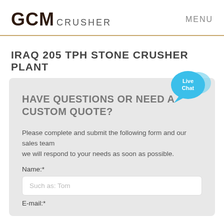GCM CRUSHER   MENU
IRAQ 205 TPH STONE CRUSHER PLANT
HAVE QUESTIONS OR NEED A CUSTOM QUOTE?
Please complete and submit the following form and our sales team
we will respond to your needs as soon as possible.
Name:*
Such as: Tom
E-mail:*